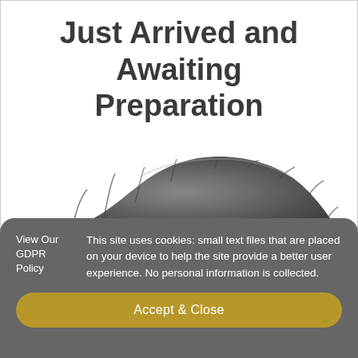[Figure (photo): Car covered with a dark grey cloth/cover, shown against a white background, awaiting preparation. The car silhouette is visible under the drape.]
Just Arrived and Awaiting Preparation
View Our GDPR Policy
This site uses cookies: small text files that are placed on your device to help the site provide a better user experience. No personal information is collected.
Accept & Close